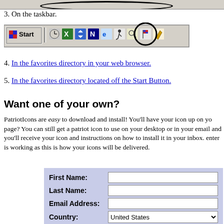[Figure (screenshot): Partial browser window taskbar with Start button and system tray icons, with a circle drawn around one icon]
3. On the taskbar.
4. In the favorites directory in your web browser.
5. In the favorites directory located off the Start Button.
Want one of your own?
PatriotIcons are easy to download and install! You'll have your icon up on your page? You can still get a patriot icon to use on your desktop or in your email and you'll receive your icon and instructions on how to install it in your inbox. enter is working as this is how your icons will be delivered.
| Field | Input |
| --- | --- |
| First Name: |  |
| Last Name: |  |
| Email Address: |  |
| Country: | United States |
| Website URL: Do Not include http:// |  |
Select which icons you would like to receive: